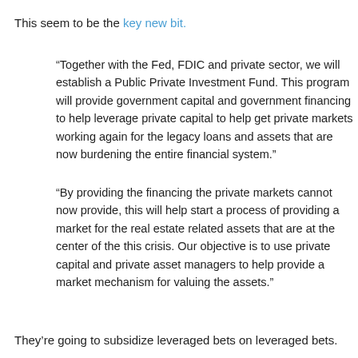This seem to be the key new bit.
“Together with the Fed, FDIC and private sector, we will establish a Public Private Investment Fund. This program will provide government capital and government financing to help leverage private capital to help get private markets working again for the legacy loans and assets that are now burdening the entire financial system.”
“By providing the financing the private markets cannot now provide, this will help start a process of providing a market for the real estate related assets that are at the center of the this crisis. Our objective is to use private capital and private asset managers to help provide a market mechanism for valuing the assets.”
They’re going to subsidize leveraged bets on leveraged bets.